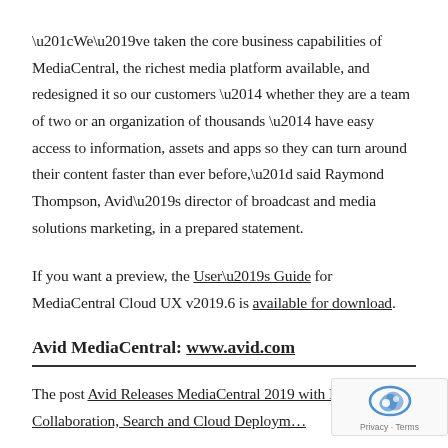“We’ve taken the core business capabilities of MediaCentral, the richest media platform available, and redesigned it so our customers — whether they are a team of two or an organization of thousands — have easy access to information, assets and apps so they can turn around their content faster than ever before,” said Raymond Thompson, Avid’s director of broadcast and media solutions marketing, in a prepared statement.
If you want a preview, the User’s Guide for MediaCentral Cloud UX v2019.6 is available for download.
Avid MediaCentral: www.avid.com
The post Avid Releases MediaCentral 2019 with Improved Collaboration, Search and Cloud Deploym…